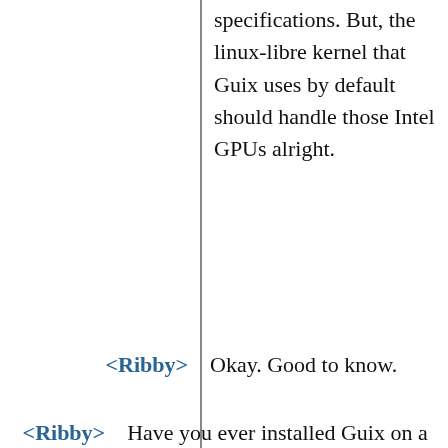specifications. But, the linux-libre kernel that Guix uses by default should handle those Intel GPUs alright.
<Ribby> Okay. Good to know.
<Ribby> Have you ever installed Guix on a 32 bit computer/motherboard?
<Ribby> I'm probably overstressing the minimal, but I would like to see what limits are there in terms of hardware. I can't say much about the internal